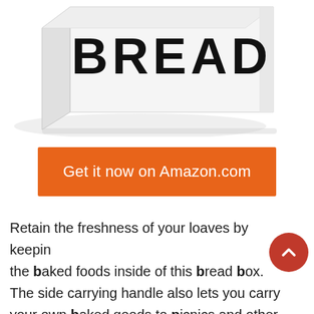[Figure (photo): White metal bread box with bold black 'BREAD' lettering on the front, photographed at a slight angle showing the top and front face. The box is white/cream colored with a clean modern design.]
Get it now on Amazon.com
Retain the freshness of your loaves by keeping the baked foods inside of this bread box. The side carrying handle also lets you carry your own baked goods to picnics and other outdoor spaces. Moreover, this heavy-duty metal bread